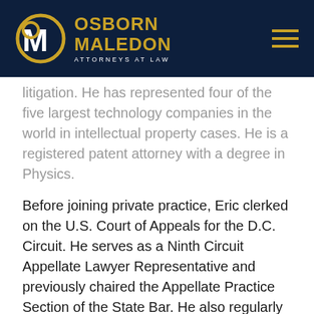[Figure (logo): Osborn Maledon Attorneys at Law logo with circular OM monogram on dark navy header background, with hamburger menu icon on the right]
litigation. He has represented four of the five largest technology companies in the world in intellectual property cases. He is a registered patent attorney with a degree in Physics.

Before joining private practice, Eric clerked on the U.S. Court of Appeals for the D.C. Circuit. He serves as a Ninth Circuit Appellate Lawyer Representative and previously chaired the Appellate Practice Section of the State Bar. He also regularly writes about appeals, including contributing to SCOTUSblog, co-editing the azapp.com blog, and co-authoring a monthly column in Arizona Attorney magazine covering civil appeals. Law360 featured Eric as one of five rising stars nationwide in 2020. He is also recognized by Chambers